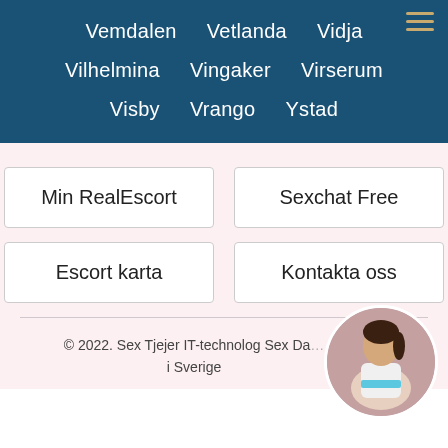Vemdalen
Vetlanda
Vidja
Vilhelmina
Vingaker
Virserum
Visby
Vrango
Ystad
Min RealEscort
Sexchat Free
Escort karta
Kontakta oss
© 2022. Sex Tjejer IT-technolog Sex Da... i Sverige